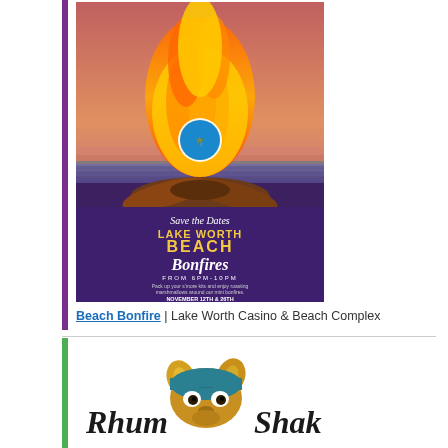[Figure (illustration): Promotional poster for Lake Worth Beach Bonfires. Purple background with bonfire illustration at sunset beach scene. Text reads: Save the Dates, LAKE WORTH BEACH Bonfires, FROM 6PM-10PM, Pack up your s'more kits and enjoy roasting marshmallows around our mini bonfires. NOVEMBER 12th & 26th, DECEMBER 10th & 17th, JANUARY 14th & 28th, FEBRUARY 11th & 25th, lakeworthbeachfl.gov with social icons.]
Beach Bonfire | Lake Worth Casino & Beach Complex
[Figure (logo): Rhum Shak logo with illustrated animal character wearing a bandana, with stylized text 'Rhum Shak']